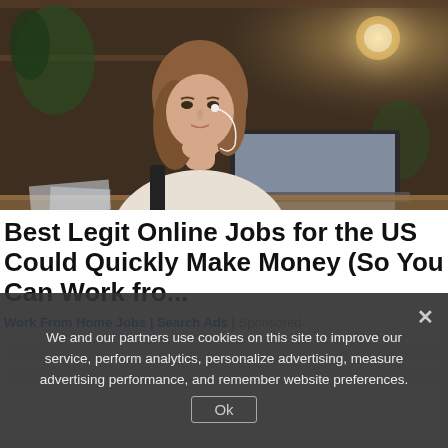[Figure (photo): Woman with earphones sitting at a desk looking at a laptop in a home office environment]
Best Legit Online Jobs for the US Could Quickly Make Money (So You Can Work fro...
Work From Home Jobs | Search Ads | Sponsored
We and our partners use cookies on this site to improve our service, perform analytics, personalize advertising, measure advertising performance, and remember website preferences.
Ok